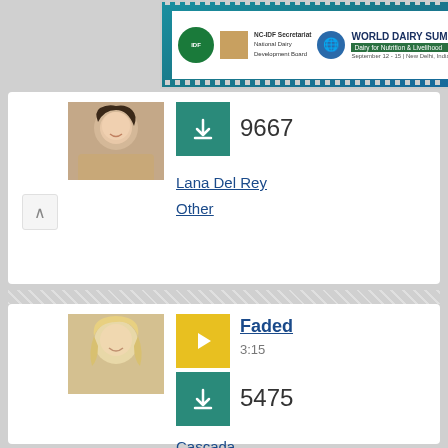[Figure (photo): World Dairy Summit 2022 advertisement banner with stamp-style edges, featuring IDF and National Dairy Development Board logos]
[Figure (photo): Photo of a woman (Lana Del Rey) smiling, with dark hair]
9667
Lana Del Rey
Other
[Figure (photo): Photo of a blonde woman (Cascada) smiling]
Faded
3:15
5475
Cascada
Other